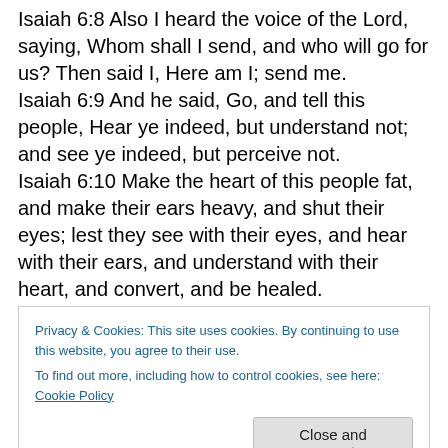Isaiah 6:8 Also I heard the voice of the Lord, saying, Whom shall I send, and who will go for us? Then said I, Here am I; send me.
Isaiah 6:9 And he said, Go, and tell this people, Hear ye indeed, but understand not; and see ye indeed, but perceive not.
Isaiah 6:10 Make the heart of this people fat, and make their ears heavy, and shut their eyes; lest they see with their eyes, and hear with their ears, and understand with their heart, and convert, and be healed.
Isaiah 6:11 Then said I, Lord, how long? And he
Privacy & Cookies: This site uses cookies. By continuing to use this website, you agree to their use.
To find out more, including how to control cookies, see here: Cookie Policy
Close and accept
and there be a great forsaking in the midst of the land.